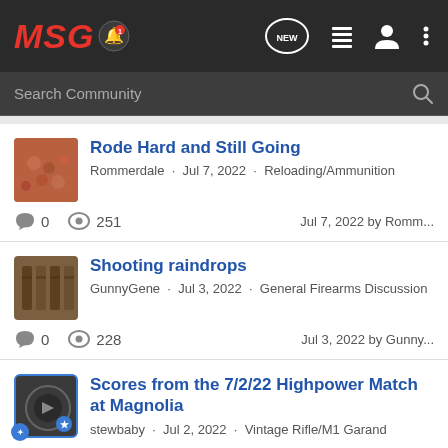MSG (logo with bell icon) - navigation bar with NEW, list, user, menu icons
Search Community
Rode Hard and Still Going
Rommerdale · Jul 7, 2022 · Reloading/Ammunition
0 comments  251 views  Jul 7, 2022 by Romm...
Shooting raindrops
GunnyGene · Jul 3, 2022 · General Firearms Discussion
0 comments  228 views  Jul 3, 2022 by Gunny...
Scores from the 7/2/22 Highpower Match at Magnolia
stewbaby · Jul 2, 2022 · Vintage Rifle/M1 Garand
0 comments  197 views  Jul 2, 2022 by stewb...